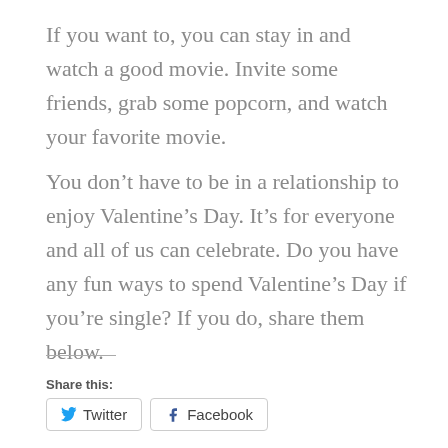If you want to, you can stay in and watch a good movie. Invite some friends, grab some popcorn, and watch your favorite movie.
You don’t have to be in a relationship to enjoy Valentine’s Day. It’s for everyone and all of us can celebrate. Do you have any fun ways to spend Valentine’s Day if you’re single? If you do, share them below.
Share this:
Twitter    Facebook